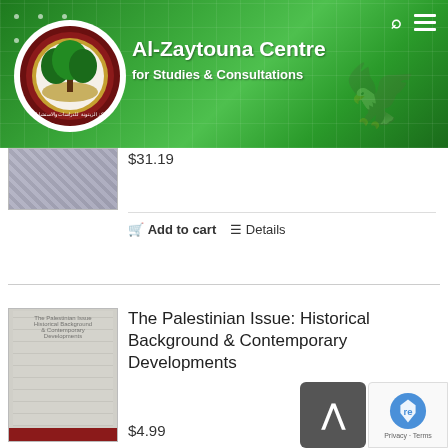Al-Zaytouna Centre for Studies & Consultations
$31.19
Add to cart  Details
[Figure (photo): Book cover image (partially visible at top)]
[Figure (photo): Book cover: The Palestinian Issue: Historical Background & Contemporary Developments]
The Palestinian Issue: Historical Background & Contemporary Developments
$4.99